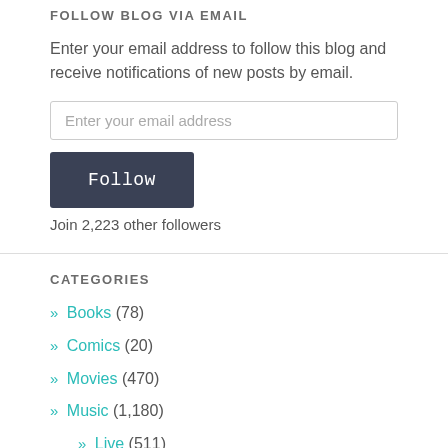FOLLOW BLOG VIA EMAIL
Enter your email address to follow this blog and receive notifications of new posts by email.
Enter your email address
Follow
Join 2,223 other followers
CATEGORIES
» Books (78)
» Comics (20)
» Movies (470)
» Music (1,180)
» Live (511)
» Records (527)